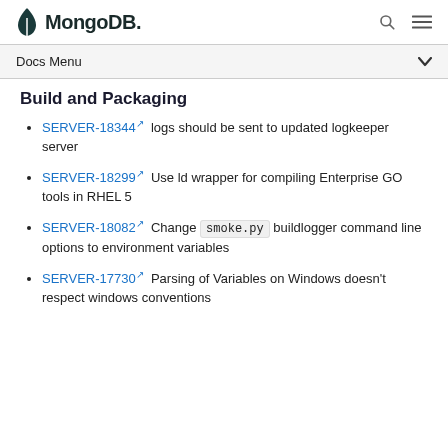MongoDB. [search icon] [menu icon]
Docs Menu ▾
Build and Packaging
SERVER-18344 logs should be sent to updated logkeeper server
SERVER-18299 Use ld wrapper for compiling Enterprise GO tools in RHEL 5
SERVER-18082 Change smoke.py buildlogger command line options to environment variables
SERVER-17730 Parsing of Variables on Windows doesn't respect windows conventions